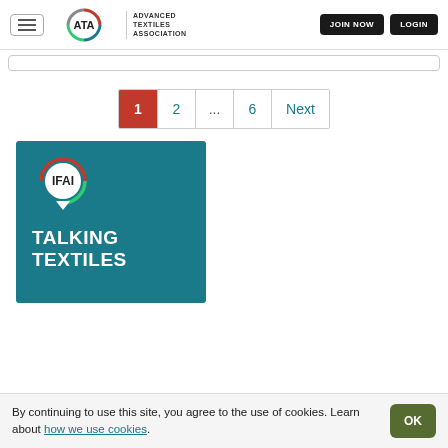[Figure (logo): ATA Advanced Textiles Association logo with navigation header including JOIN NOW and LOGIN buttons]
[Figure (infographic): Pagination bar showing pages 1 (active/red), 2, ..., 6, Next]
[Figure (illustration): Teal/dark cyan card with IFAI logo (speech bubble circle design) and text TALKING TEXTILES in white bold letters]
By continuing to use this site, you agree to the use of cookies. Learn about how we use cookies.